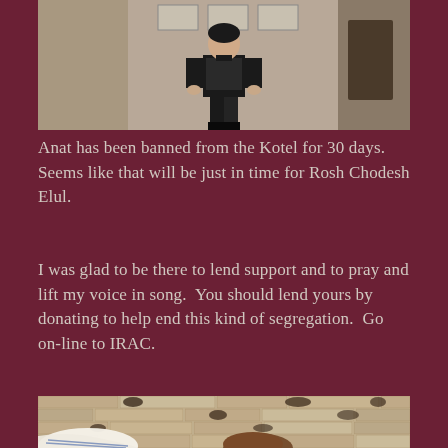[Figure (photo): A police officer or security guard in black uniform standing in front of a building]
Anat has been banned from the Kotel for 30 days.  Seems like that will be just in time for Rosh Chodesh Elul.
I was glad to be there to lend support and to pray and lift my voice in song.  You should lend yours by donating to help end this kind of segregation.  Go on-line to IRAC.
[Figure (photo): Person standing in front of the Western Wall (Kotel) with stone wall visible in background, white religious items visible at bottom]